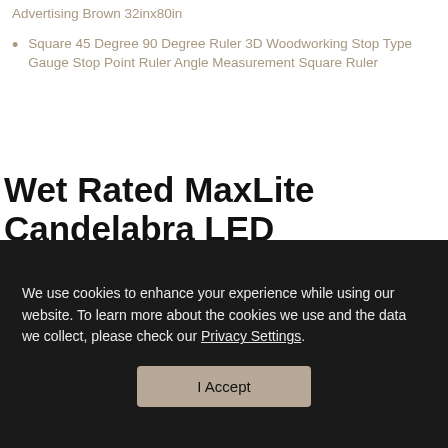Advertising Brown 32inx80in
Square 45 Degree 90 Degree Ruler 3D Woodworking Stop Type Gauge Stop Point Ruler Angle Measurement Square Ruler
Wet Rated MaxLite Candelabra LED Chandelier Bulbs E12 Base Dimmable Filament Candle Bulbs 6-Pack 40W Equivalent 2700K Soft
We use cookies to enhance your experience while using our website. To learn more about the cookies we use and the data we collect, please check our Privacy Settings.
I Accept